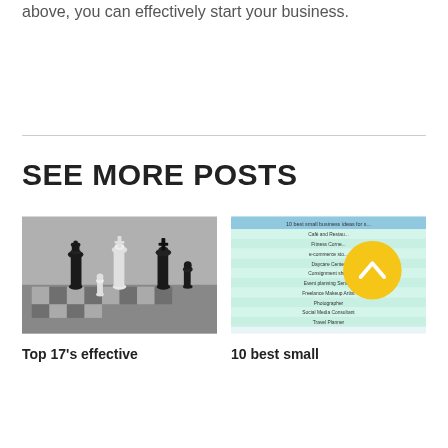above, you can effectively start your business.
SEE MORE POSTS
[Figure (photo): Black and white photo of chess pieces on a chessboard]
[Figure (infographic): 10 best small business ideas list with colored rows and a yellow scroll-to-top button overlay]
Top 17's effective
10 best small